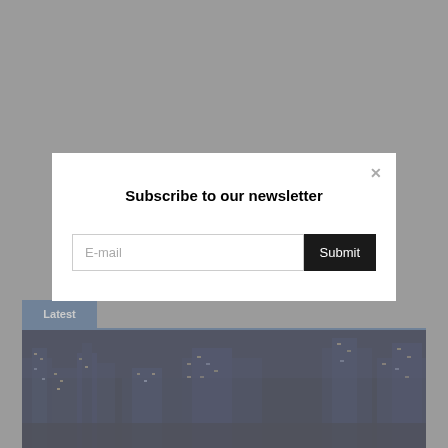[Figure (screenshot): Gray background page with a newsletter subscription modal dialog overlay. Below the modal is a 'Latest' section tab with a blue horizontal line and a night cityscape photograph at the bottom.]
Subscribe to our newsletter
E-mail
Submit
Latest
[Figure (photo): Night cityscape showing illuminated skyscrapers against a dark blue sky]